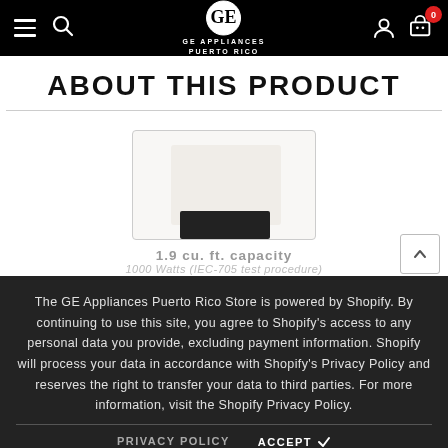GE Appliances Puerto Rico — Navigation bar with menu, search, logo, account, and cart (0 items)
ABOUT THIS PRODUCT
[Figure (photo): Partial product image of a white GE microwave appliance inside a bordered box, partially visible]
The GE Appliances Puerto Rico Store is powered by Shopify. By continuing to use this site, you agree to Shopify's access to any personal data you provide, excluding payment information. Shopify will process your data in accordance with Shopify's Privacy Policy and reserves the right to transfer your data to third parties. For more information, visit the Shopify Privacy Policy.
1.9 cu. ft. capacity
1000 Watts (IEC-705 test procedure)
PRIVACY POLICY
ACCEPT